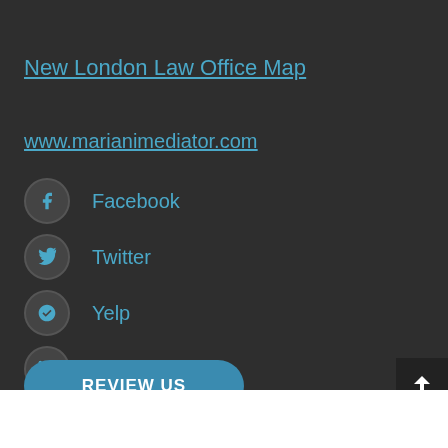New London Law Office Map
www.marianimediator.com
Facebook
Twitter
Yelp
Linkedin
REVIEW US